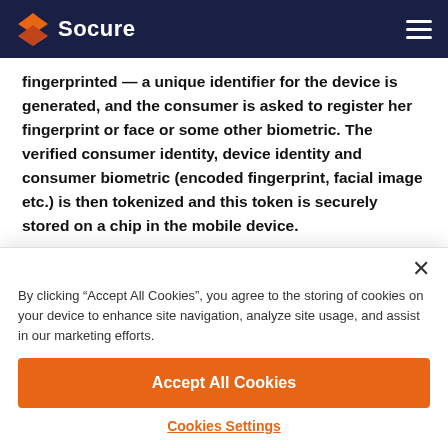Socure
fingerprinted — a unique identifier for the device is generated, and the consumer is asked to register her fingerprint or face or some other biometric. The verified consumer identity, device identity and consumer biometric (encoded fingerprint, facial image etc.) is then tokenized and this token is securely stored on a chip in the mobile device.
By clicking “Accept All Cookies”, you agree to the storing of cookies on your device to enhance site navigation, analyze site usage, and assist in our marketing efforts.
Accept All Cookies
Cookies Settings